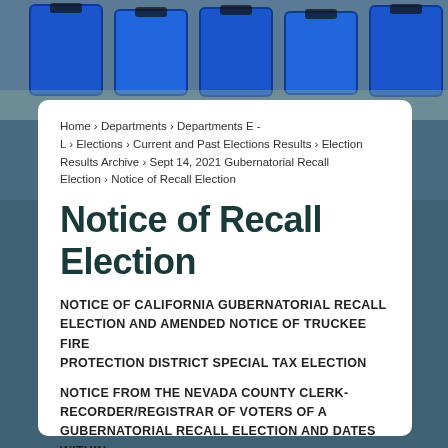[Figure (photo): Photo background showing blue voting/ballot bins or containers on a table in a government elections office, slightly blurred.]
Home › Departments › Departments E - L › Elections › Current and Past Elections Results › Election Results Archive › Sept 14, 2021 Gubernatorial Recall Election › Notice of Recall Election
Notice of Recall Election
NOTICE OF CALIFORNIA GUBERNATORIAL RECALL ELECTION AND AMENDED NOTICE OF TRUCKEE FIRE PROTECTION DISTRICT SPECIAL TAX ELECTION
NOTICE FROM THE NEVADA COUNTY CLERK-RECORDER/REGISTRAR OF VOTERS OF A GUBERNATORIAL RECALL ELECTION AND DATES WITHIN